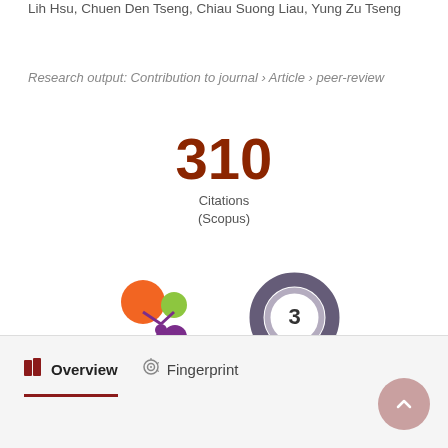Lih Hsu, Chuen Den Tseng, Chiau Suong Liau, Yung Zu Tseng
Research output: Contribution to journal › Article › peer-review
310
Citations
(Scopus)
[Figure (logo): Altmetric badge showing colorful bubbles (orange, green, purple, yellow dots) forming a flower-like cluster — Altmetric attention score logo]
[Figure (other): PlumX metrics donut ring badge showing the number 3 in the center, with a dark spiral ring around it]
Overview
Fingerprint